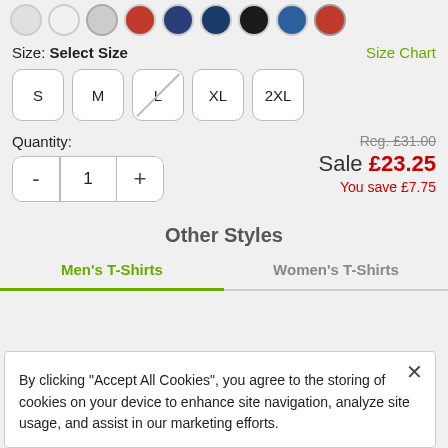[Figure (other): Row of color selector circles at the top of the page]
Size: Select Size
Size Chart
[Figure (other): Size selector buttons: S, M, L (unavailable/crossed out), XL, 2XL]
Quantity:
Reg. £31.00
[Figure (other): Quantity control with minus, 1, plus buttons]
Sale £23.25
You save £7.75
Other Styles
Men's T-Shirts
Women's T-Shirts
By clicking "Accept All Cookies", you agree to the storing of cookies on your device to enhance site navigation, analyze site usage, and assist in our marketing efforts.